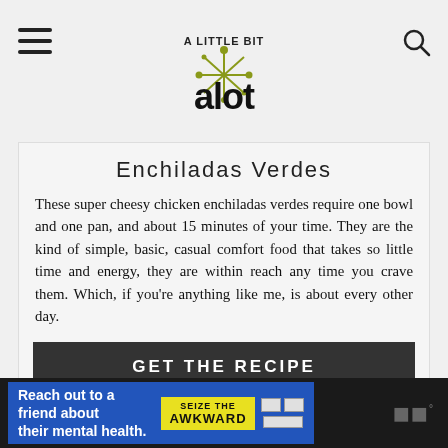[Figure (logo): A Little Bit A Lot blog logo with starburst/asterisk graphic in olive green and bold 'alot' text]
Enchiladas Verdes
These super cheesy chicken enchiladas verdes require one bowl and one pan, and about 15 minutes of your time. They are the kind of simple, basic, casual comfort food that takes so little time and energy, they are within reach any time you crave them. Which, if you're anything like me, is about every other day.
GET THE RECIPE
Reach out to a friend about their mental health.